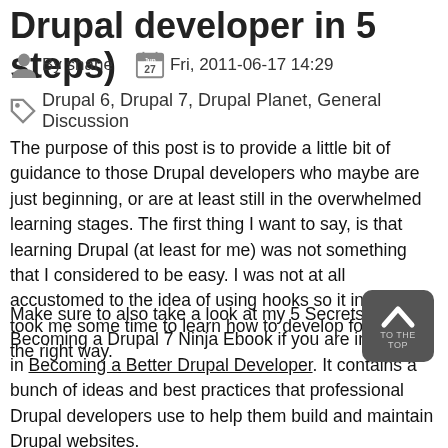Drupal developer in 5 steps)
By shane   Fri, 2011-06-17 14:29
Drupal 6, Drupal 7, Drupal Planet, General Discussion
The purpose of this post is to provide a little bit of guidance to those Drupal developers who maybe are just beginning, or are at least still in the overwhelmed learning stages. The first thing I want to say, is that learning Drupal (at least for me) was not something that I considered to be easy. I was not at all accustomed to the idea of using hooks so it initially took me some time to learn how to develop for Drupal the right way.
Make sure to also take a look at my 5 Secrets to Becoming a Drupal 7 Ninja Ebook if you are interested in Becoming a Better Drupal Developer. It contains a bunch of ideas and best practices that professional Drupal developers use to help them build and maintain Drupal websites.